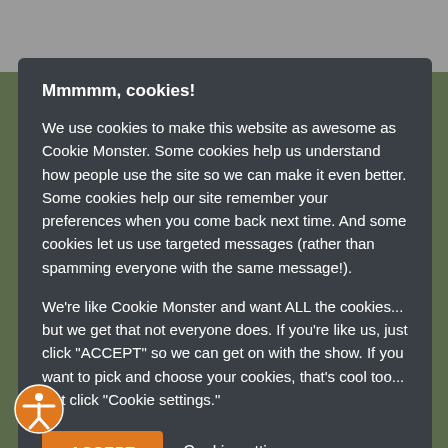Mmmmm, cookies!
We use cookies to make this website as awesome as Cookie Monster. Some cookies help us understand how people use the site so we can make it even better. Some cookies help our site remember your preferences when you come back next time. And some cookies let us use targeted messages (rather than spamming everyone with the same message!).
We're like Cookie Monster and want ALL the cookies... but we get that not everyone does. If you're like us, just click "ACCEPT" so we can get on with the show. If you want to pick and choose your cookies, that's cool too... just click "Cookie settings."
ACCEPT  Cookie settings